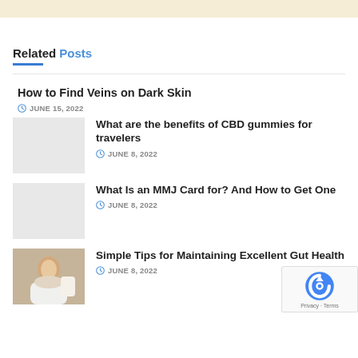Related Posts
How to Find Veins on Dark Skin
JUNE 15, 2022
What are the benefits of CBD gummies for travelers
JUNE 8, 2022
What Is an MMJ Card for? And How to Get One
JUNE 8, 2022
Simple Tips for Maintaining Excellent Gut Health
JUNE 8, 2022